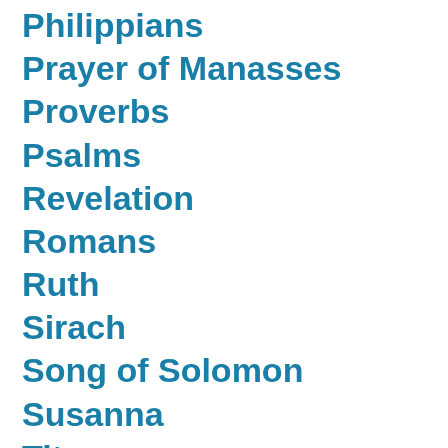Philippians
Prayer of Manasses
Proverbs
Psalms
Revelation
Romans
Ruth
Sirach
Song of Solomon
Susanna
Titus